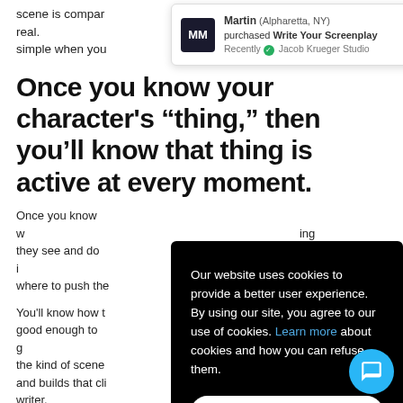scene is compar... thing that's real. ... simple when you...
[Figure (screenshot): Toast notification popup: MM avatar, Martin (Alpharetta, NY) purchased Write Your Screenplay, Recently Jacob Krueger Studio]
Once you know your character's “thing,” then you’ll know that thing is active at every moment.
Once you know w... ing they see and do i... m, where to push the...
You’ll know how t... was good enough to g... o the kind of scene... ce, and builds that cli... writer.
[Figure (screenshot): Cookie consent overlay on dark background: 'Our website uses cookies to provide a better user experience. By using our site, you agree to our use of cookies. Learn more about cookies and how you can refuse them.' with ACCEPT & CLOSE button]
[Figure (screenshot): Blue circular chat/support button in bottom right corner]
Share this...